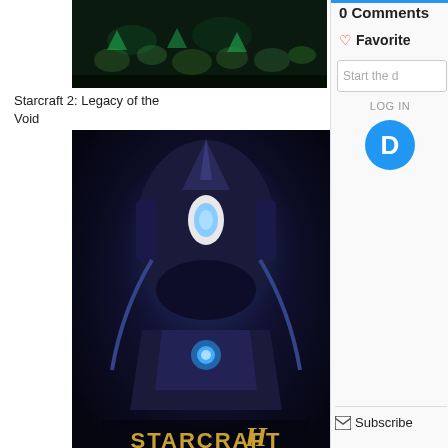[Figure (screenshot): Top portion of a dark game screenshot showing alien/zerg-like creatures in dark green tones]
Starcraft 2: Legacy of the Void
[Figure (photo): StarCraft II: Legacy of the Void game box cover art featuring a large alien Protoss figure with glowing blue eyes and the StarCraft II logo]
Combiner Wars: Devastator
[Figure (photo): Transformers Combiner Wars Devastator toy figure, large green and purple robot, with a smaller thumbnail image in the corner]
0 Comments
Favorite
Start the d
LOG IN
D
Subscribe